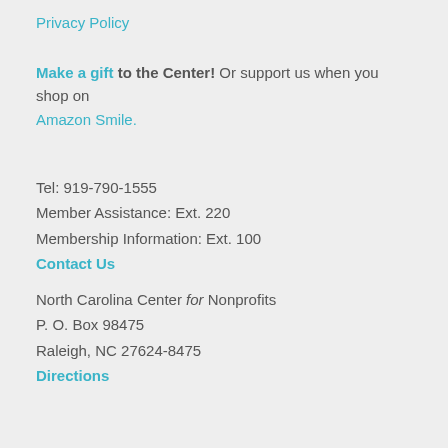Privacy Policy
Make a gift to the Center! Or support us when you shop on Amazon Smile.
Tel: 919-790-1555
Member Assistance: Ext. 220
Membership Information: Ext. 100
Contact Us
North Carolina Center for Nonprofits
P. O. Box 98475
Raleigh, NC 27624-8475
Directions